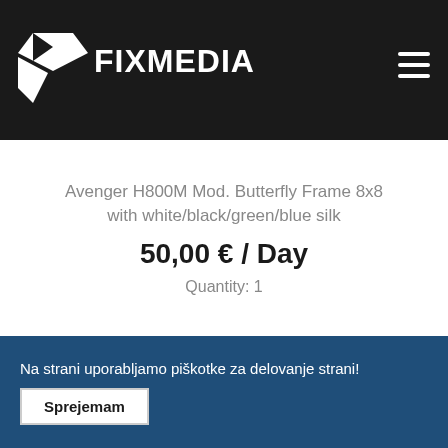FIXMEDIA
Avenger H800M Mod. Butterfly Frame 8x8 with white/black/green/blue silk
50,00 € / Day
Quantity: 1
Na strani uporabljamo piškotke za delovanje strani!
Sprejemam